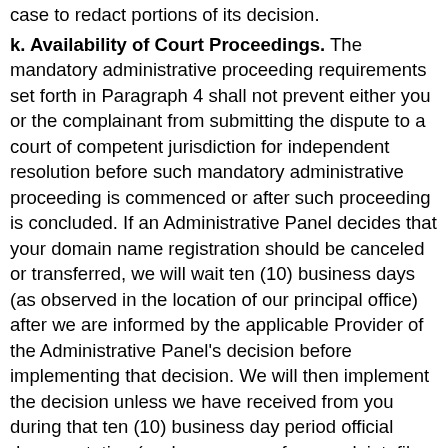case to redact portions of its decision.
k. Availability of Court Proceedings. The mandatory administrative proceeding requirements set forth in Paragraph 4 shall not prevent either you or the complainant from submitting the dispute to a court of competent jurisdiction for independent resolution before such mandatory administrative proceeding is commenced or after such proceeding is concluded. If an Administrative Panel decides that your domain name registration should be canceled or transferred, we will wait ten (10) business days (as observed in the location of our principal office) after we are informed by the applicable Provider of the Administrative Panel's decision before implementing that decision. We will then implement the decision unless we have received from you during that ten (10) business day period official documentation (such as a copy of a complaint, file-stamped by the clerk of the court) that you have commenced a lawsuit against the complainant in a jurisdiction to which the complainant has submitted under Paragraph 3(b)(xiii) of the Rules of Procedure (known as the